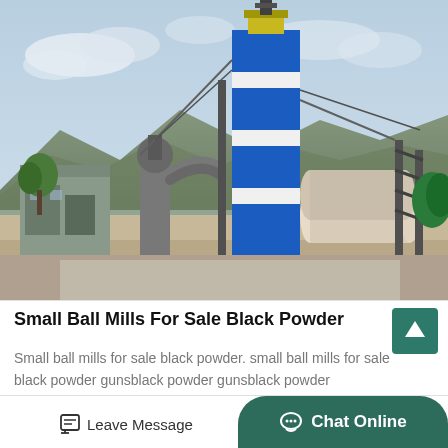[Figure (photo): Industrial facility showing a large blue and white striped cylindrical silo/tower in the center, with various industrial equipment including cylindrical drums, piping, scaffolding, and buildings in the foreground. Mountains visible in the background under a partly cloudy sky.]
Small Ball Mills For Sale Black Powder
Small ball mills for sale black powder. small ball mills for sale black powder gunsblack powder gunsblack powder pistolspage...